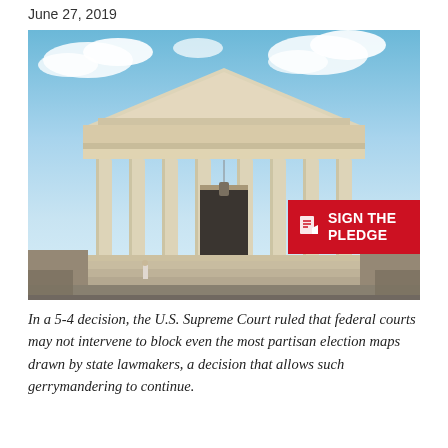June 27, 2019
[Figure (photo): Photograph of the front facade of the U.S. Supreme Court building, showing the classical columns, pediment with sculptures, and steps. A 'SIGN THE PLEDGE' red badge overlay appears in the lower right.]
In a 5-4 decision, the U.S. Supreme Court ruled that federal courts may not intervene to block even the most partisan election maps drawn by state lawmakers, a decision that allows such gerrymandering to continue.